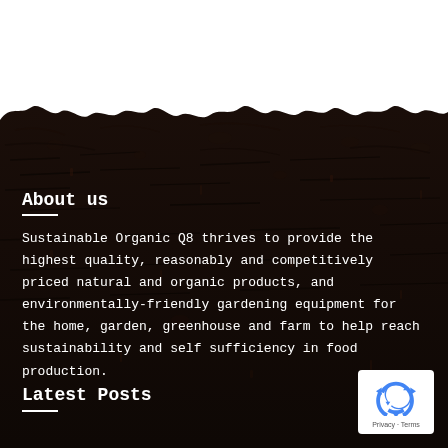[Figure (photo): Dark soil/compost background image filling the lower portion of the page, with white sky/background at the top transitioning to dark organic soil texture]
About us
Sustainable Organic Q8 thrives to provide the highest quality, reasonably and competitively priced natural and organic products, and environmentally-friendly gardening equipment for the home, garden, greenhouse and farm to help reach sustainability and self sufficiency in food production.
Latest Posts
[Figure (logo): Google reCAPTCHA badge with blue recycling arrow icon, white background, showing Privacy - Terms text]